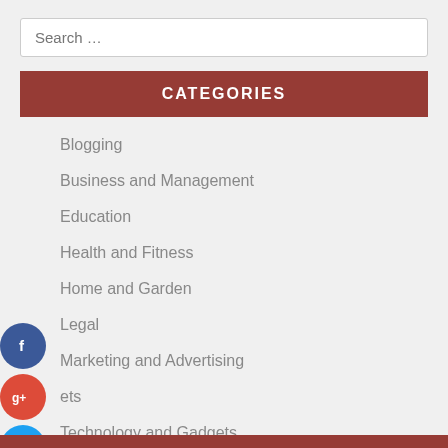Search …
CATEGORIES
Blogging
Business and Management
Education
Health and Fitness
Home and Garden
Legal
Marketing and Advertising
Pets
Technology and Gadgets
Travel and Leisure
[Figure (infographic): Social share buttons: Facebook (blue circle with f), Google+ (red circle with g+), Twitter (blue circle with bird), AddThis (dark circle with +)]